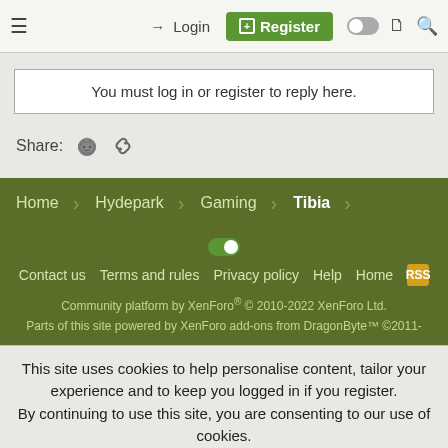≡  Log in  Register
You must log in or register to reply here.
Share:
Home  Hydepark  Gaming  Tibia
Contact us  Terms and rules  Privacy policy  Help  Home  Community platform by XenForo® © 2010-2022 XenForo Ltd. Parts of this site powered by XenForo add-ons from DragonByte™ ©2011-
This site uses cookies to help personalise content, tailor your experience and to keep you logged in if you register.
By continuing to use this site, you are consenting to our use of cookies.
✓ Accept  Learn more...